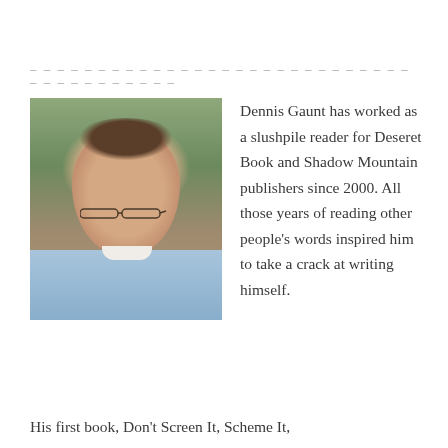– – – – – – – – – – – – – – – – – – – – – – – – – – – – – – – – – – – – – – – – – – –
[Figure (photo): Headshot photo of Dennis Gaunt, a middle-aged man wearing glasses and a light blue button-down shirt, smiling, photographed outdoors against a stone/brick wall with greenery in the background.]
Dennis Gaunt has worked as a slushpile reader for Deseret Book and Shadow Mountain publishers since 2000. All those years of reading other people's words inspired him to take a crack at writing himself.
His first book, Don't Screen It, Scheme It,